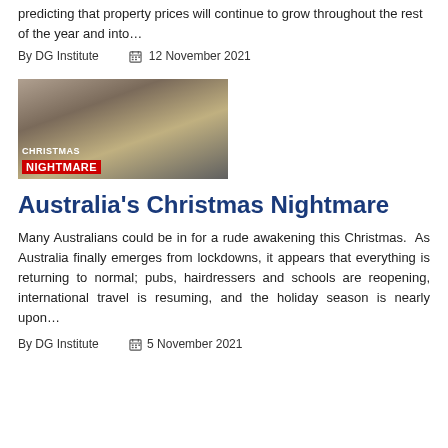predicting that property prices will continue to grow throughout the rest of the year and into…
By DG Institute   📅 12 November 2021
[Figure (photo): Crowd of people carrying large gift boxes with text overlay reading CHRISTMAS NIGHTMARE]
Australia's Christmas Nightmare
Many Australians could be in for a rude awakening this Christmas.  As Australia finally emerges from lockdowns, it appears that everything is returning to normal; pubs, hairdressers and schools are reopening, international travel is resuming, and the holiday season is nearly upon…
By DG Institute   📅 5 November 2021